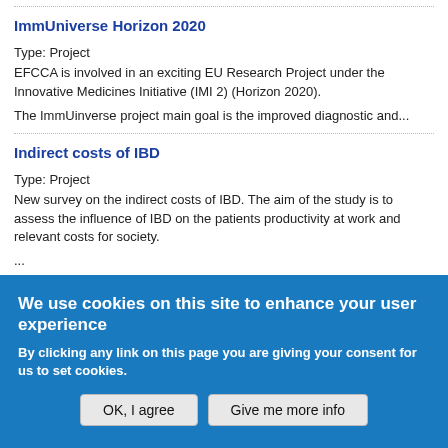ImmUniverse Horizon 2020
Type: Project
EFCCA is involved in an exciting EU Research Project under the Innovative Medicines Initiative (IMI 2) (Horizon 2020).
The ImmUinverse project main goal is the improved diagnostic and...
Indirect costs of IBD
Type: Project
New survey on the indirect costs of IBD. The aim of the study is to assess the influence of IBD on the patients productivity at work and relevant costs for society.
...
We use cookies on this site to enhance your user experience
By clicking any link on this page you are giving your consent for us to set cookies.
OK, I agree | Give me more info